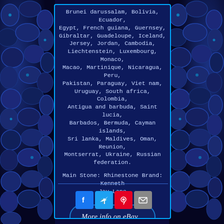Brunei darussalam, Bolivia, Ecuador, Egypt, French guiana, Guernsey, Gibraltar, Guadeloupe, Iceland, Jersey, Jordan, Cambodia, Liechtenstein, Luxembourg, Monaco, Macao, Martinique, Nicaragua, Peru, Pakistan, Paraguay, Viet nam, Uruguay, South africa, Colombia, Antigua and barbuda, Saint lucia, Barbados, Bermuda, Cayman islands, Sri lanka, Maldives, Oman, Reunion, Montserrat, Ukraine, Russian federation.
Main Stone: Rhinestone Brand: Kenneth Jay Lane
[Figure (screenshot): Button/link styled element with rounded corners reading 'More info on eBay...']
[Figure (infographic): Social media share icons: Facebook (blue), Twitter (light blue), Pinterest (red), Email (grey)]